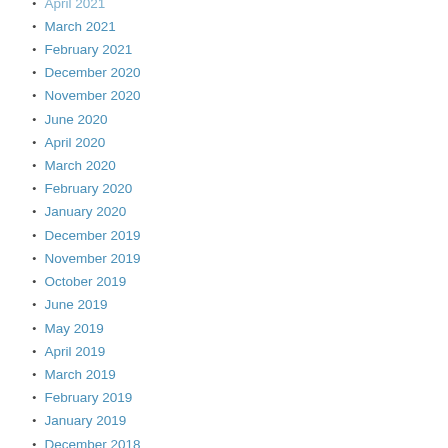April 2021
March 2021
February 2021
December 2020
November 2020
June 2020
April 2020
March 2020
February 2020
January 2020
December 2019
November 2019
October 2019
June 2019
May 2019
April 2019
March 2019
February 2019
January 2019
December 2018
October 2018
June 2018
May 2018
April 2018
March 2018
February 2018
January 2018